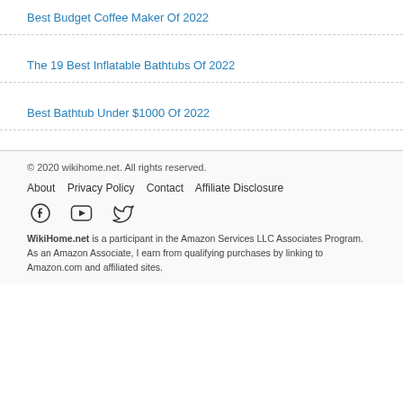Best Budget Coffee Maker Of 2022
The 19 Best Inflatable Bathtubs Of 2022
Best Bathtub Under $1000 Of 2022
© 2020 wikihome.net. All rights reserved.
About  Privacy Policy  Contact  Affiliate Disclosure
WikiHome.net is a participant in the Amazon Services LLC Associates Program. As an Amazon Associate, I earn from qualifying purchases by linking to Amazon.com and affiliated sites.